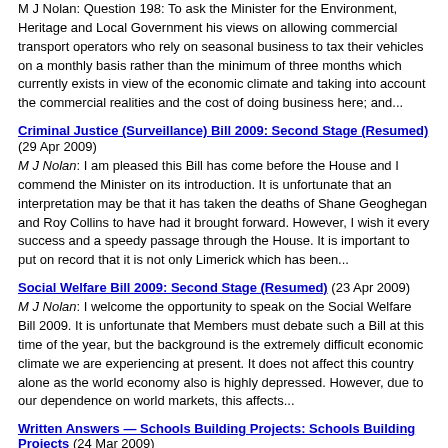M J Nolan: Question 198: To ask the Minister for the Environment, Heritage and Local Government his views on allowing commercial transport operators who rely on seasonal business to tax their vehicles on a monthly basis rather than the minimum of three months which currently exists in view of the economic climate and taking into account the commercial realities and the cost of doing business here; and...
Criminal Justice (Surveillance) Bill 2009: Second Stage (Resumed)
(29 Apr 2009)
M J Nolan: I am pleased this Bill has come before the House and I commend the Minister on its introduction. It is unfortunate that an interpretation may be that it has taken the deaths of Shane Geoghegan and Roy Collins to have had it brought forward. However, I wish it every success and a speedy passage through the House. It is important to put on record that it is not only Limerick which has been...
Social Welfare Bill 2009: Second Stage (Resumed)
(23 Apr 2009)
M J Nolan: I welcome the opportunity to speak on the Social Welfare Bill 2009. It is unfortunate that Members must debate such a Bill at this time of the year, but the background is the extremely difficult economic climate we are experiencing at present. It does not affect this country alone as the world economy also is highly depressed. However, due to our dependence on world markets, this affects...
Written Answers — Schools Building Projects: Schools Building Projects
(24 Mar 2009)